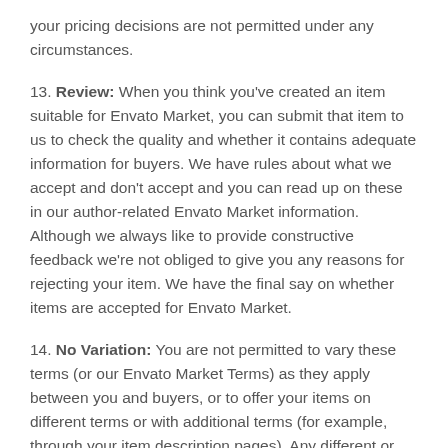your pricing decisions are not permitted under any circumstances.
13. Review: When you think you've created an item suitable for Envato Market, you can submit that item to us to check the quality and whether it contains adequate information for buyers. We have rules about what we accept and don't accept and you can read up on these in our author-related Envato Market information. Although we always like to provide constructive feedback we're not obliged to give you any reasons for rejecting your item. We have the final say on whether items are accepted for Envato Market.
14. No Variation: You are not permitted to vary these terms (or our Envato Market Terms) as they apply between you and buyers, or to offer your items on different terms or with additional terms (for example, through your item description pages). Any different or additional terms that you try to impose on Envato Market on your items will have no effect against buyers or Envato.